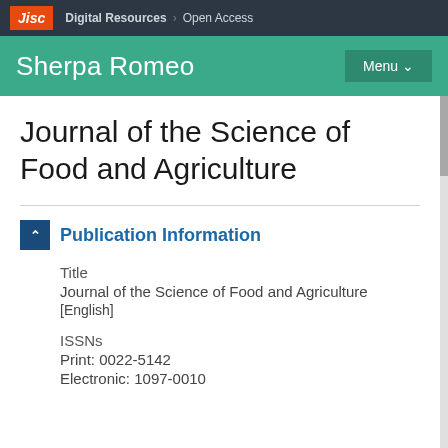Jisc | Digital Resources > Open Access
Sherpa Romeo | Menu
Journal of the Science of Food and Agriculture
Publication Information
Title
Journal of the Science of Food and Agriculture
[English]
ISSNs
Print: 0022-5142
Electronic: 1097-0010